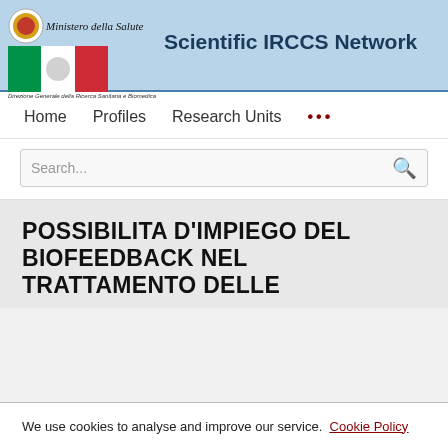Ministero della Salute — Scientific IRCCS Network — Direzione Generale della Ricerca Sanitaria e Biomedica
Home   Profiles   Research Units   ...
Search...
POSSIBILITA D'IMPIEGO DEL BIOFEEDBACK NEL TRATTAMENTO DELLE
We use cookies to analyse and improve our service. Cookie Policy